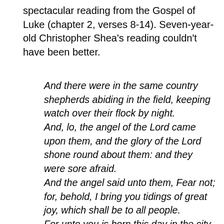spectacular reading from the Gospel of Luke (chapter 2, verses 8-14). Seven-year-old Christopher Shea's reading couldn't have been better.
And there were in the same country shepherds abiding in the field, keeping watch over their flock by night. And, lo, the angel of the Lord came upon them, and the glory of the Lord shone round about them: and they were sore afraid. And the angel said unto them, Fear not; for, behold, I bring you tidings of great joy, which shall be to all people. For unto you is born this day in the city of David a Savior, which is Christ the Lord. And this shall be a sign unto you: Ye shall find the